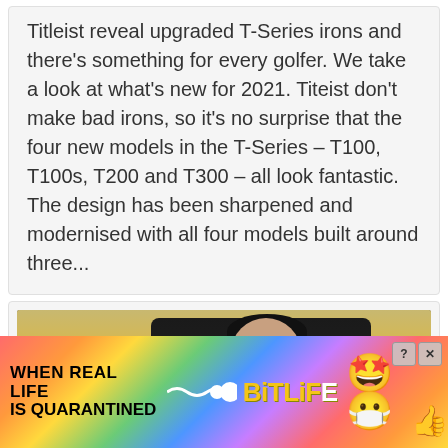Titleist reveal upgraded T-Series irons and there's something for every golfer. We take a look at what's new for 2021. Titeist don't make bad irons, so it's no surprise that the four new models in the T-Series – T100, T100s, T200 and T300 – all look fantastic. The design has been sharpened and modernised with all four models built around three...
[Figure (photo): A golfer wearing a black Adidas polo shirt and black cap, standing in front of blurred trees. Golf clubs visible on the left side of the image.]
[Figure (screenshot): Advertisement for BitLife mobile game with rainbow gradient background. Text reads WHEN REAL LIFE IS QUARANTINED with BitLife logo and emoji graphics including a star-eyes emoji wearing a mask and a thumbs up emoji.]